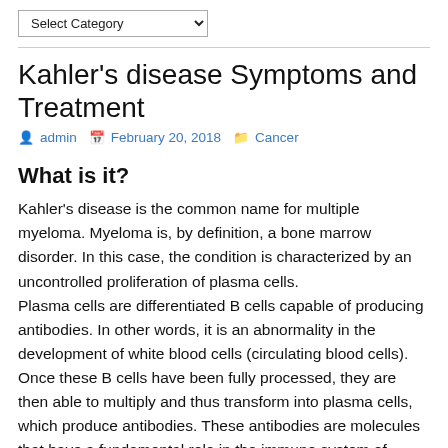Select Category
Kahler's disease Symptoms and Treatment
admin  February 20, 2018  Cancer
What is it?
Kahler's disease is the common name for multiple myeloma. Myeloma is, by definition, a bone marrow disorder. In this case, the condition is characterized by an uncontrolled proliferation of plasma cells.
Plasma cells are differentiated B cells capable of producing antibodies. In other words, it is an abnormality in the development of white blood cells (circulating blood cells). Once these B cells have been fully processed, they are then able to multiply and thus transform into plasma cells, which produce antibodies. These antibodies are molecules that have a fundamental role in the immune system of...